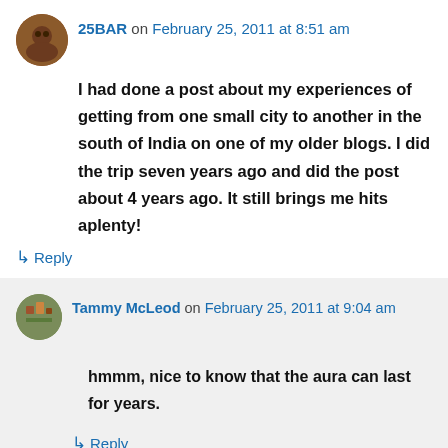25BAR on February 25, 2011 at 8:51 am
I had done a post about my experiences of getting from one small city to another in the south of India on one of my older blogs. I did the trip seven years ago and did the post about 4 years ago. It still brings me hits aplenty!
↳ Reply
Tammy McLeod on February 25, 2011 at 9:04 am
hmmm, nice to know that the aura can last for years.
↳ Reply